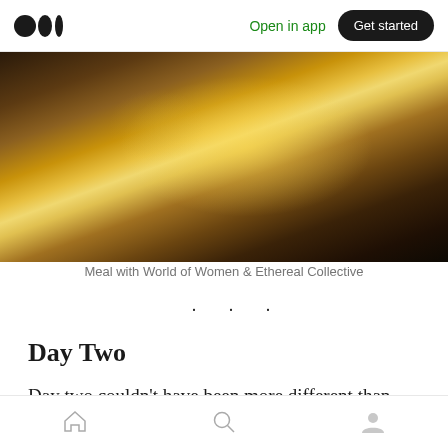Medium logo | Open in app | Get started
[Figure (photo): A dimly lit restaurant table with food, drinks and items on it, glowing with warm amber light. Two people visible at the sides.]
Meal with World of Women & Ethereal Collective
• • •
Day Two
Day two couldn't have been more different than day one; the team at Metacon, and evidently
Home | Search | Profile